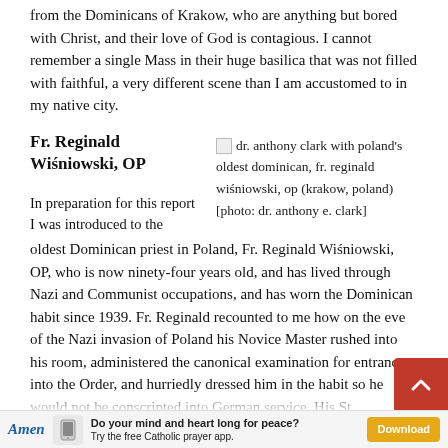from the Dominicans of Krakow, who are anything but bored with Christ, and their love of God is contagious. I cannot remember a single Mass in their huge basilica that was not filled with faithful, a very different scene than I am accustomed to in my native city.
Fr. Reginald Wiśniowski, OP
[Figure (photo): Photo of dr. anthony clark with poland's oldest dominican, fr. reginald wiśniowski, op (krakow, poland) [photo: dr. anthony e. clark]]
In preparation for this report I was introduced to the oldest Dominican priest in Poland, Fr. Reginald Wiśniowski, OP, who is now ninety-four years old, and has lived through Nazi and Communist occupations, and has worn the Dominican habit since 1939. Fr. Reginald recounted to me how on the eve of the Nazi invasion of Poland his Novice Master rushed into his room, administered the canonical examination for entrance into the Order, and hurriedly dressed him in the habit so he would not be conscripted into German service. His St...
Do your mind and heart long for peace? Try the free Catholic prayer app. Download